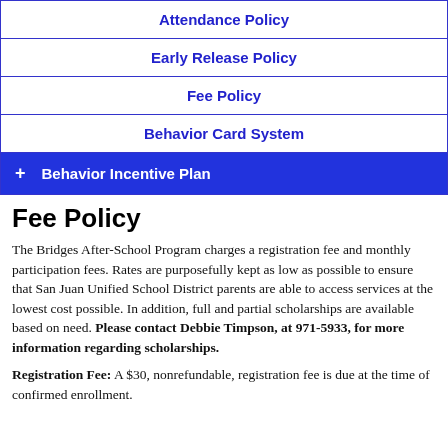| Attendance Policy |
| Early Release Policy |
| Fee Policy |
| Behavior Card System |
| + Behavior Incentive Plan |
Fee Policy
The Bridges After-School Program charges a registration fee and monthly participation fees. Rates are purposefully kept as low as possible to ensure that San Juan Unified School District parents are able to access services at the lowest cost possible. In addition, full and partial scholarships are available based on need. Please contact Debbie Timpson, at 971-5933, for more information regarding scholarships.
Registration Fee: A $30, nonrefundable, registration fee is due at the time of confirmed enrollment.